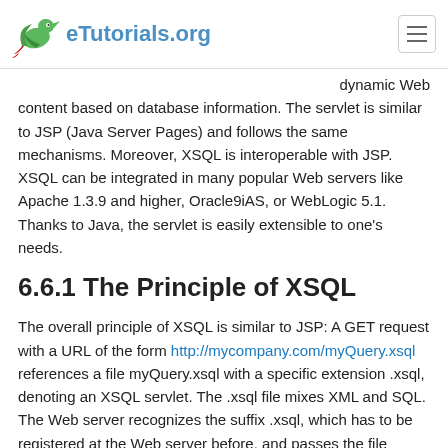eTutorials.org
dynamic Web content based on database information. The servlet is similar to JSP (Java Server Pages) and follows the same mechanisms. Moreover, XSQL is interoperable with JSP. XSQL can be integrated in many popular Web servers like Apache 1.3.9 and higher, Oracle9iAS, or WebLogic 5.1. Thanks to Java, the servlet is easily extensible to one's needs.
6.6.1 The Principle of XSQL
The overall principle of XSQL is similar to JSP: A GET request with a URL of the form http://mycompany.com/myQuery.xsql references a file myQuery.xsql with a specific extension .xsql, denoting an XSQL servlet. The .xsql file mixes XML and SQL. The Web server recognizes the suffix .xsql, which has to be registered at the Web server before, and passes the file content to the XSQL servlet. The servlet processes the file and executes all the embedded SQL statements in the sense of server-side templates. The result, an XML document, is passed back to the caller.
In the easiest case, the XSQL file myQuery.xsql could have the